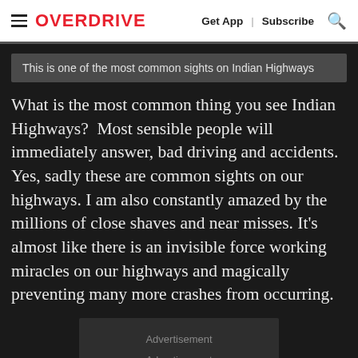OVERDRIVE  Get App  |  Subscribe
This is one of the most common sights on Indian Highways
What is the most common thing you see Indian Highways?  Most sensible people will immediately answer, bad driving and accidents.  Yes, sadly these are common sights on our highways. I am also constantly amazed by the millions of close shaves and near misses. It's almost like there is an invisible force working miracles on our highways and magically preventing many more crashes from occurring.
Advertisement
Advertisement